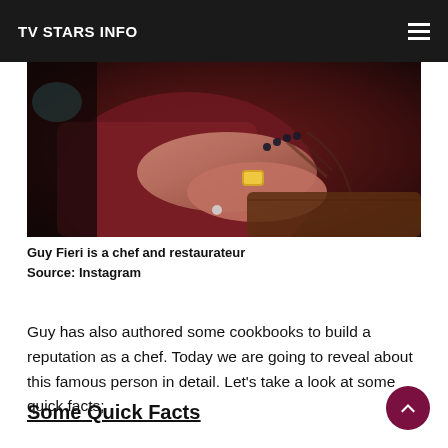TV STARS INFO
[Figure (photo): Photo of Guy Fieri's tattooed arms crossed, wearing a gold watch and ring, dark maroon shirt, leaning on a wooden surface]
Guy Fieri is a chef and restaurateur
Source: Instagram
Guy has also authored some cookbooks to build a reputation as a chef. Today we are going to reveal about this famous person in detail. Let's take a look at some quick facts;
Some Quick Facts